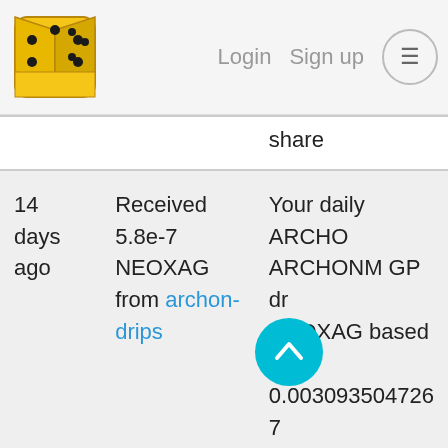[Figure (logo): Gold 3D dice logo (yellow/black)]
Login  Sign up  ☰
| When | Action | Description |
| --- | --- | --- |
|  |  | share |
| 14 days ago | Received 5.8e-7 NEOXAG from archon-drips | Your daily ARCHONM GP drip NEOXAG based on 0.003093504726… GP with 0.003093… share |
| 15 days ago | Received 5.6e-7 NEOXAG from archon-drips | Your daily ARCHONM GP drip NEOXAG based on 0.003093419568… GP with 0.003094… share |
| 16 days ago | Received 5.4e-7… | Your daily ARCHONM… |